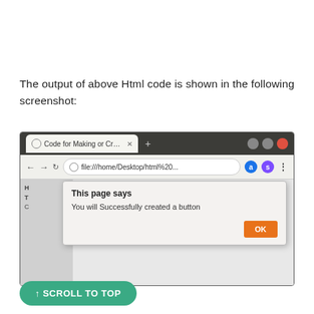The output of above Html code is shown in the following screenshot:
[Figure (screenshot): Browser screenshot showing a webpage with a dialog box that says 'This page says' / 'You will Successfully created a button' with an OK button.]
↑ SCROLL TO TOP